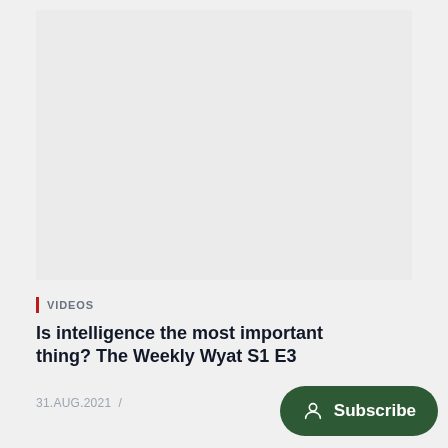[Figure (other): Light gray thumbnail/video placeholder area]
VIDEOS
Is intelligence the most important thing? The Weekly Wyat S1 E3
31.AUG.2021  /
Subscribe